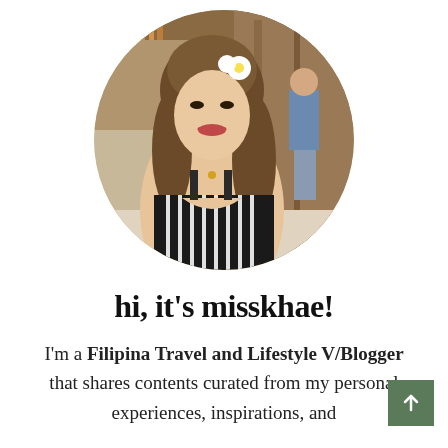[Figure (photo): Circular profile photo of a young Filipina woman smiling, wearing a floral hair accessory and a black and white striped top, with a bar/restaurant background.]
hi, it's misskhae!
I'm a Filipina Travel and Lifestyle V/Blogger that shares contents curated from my personal experiences, inspirations, and